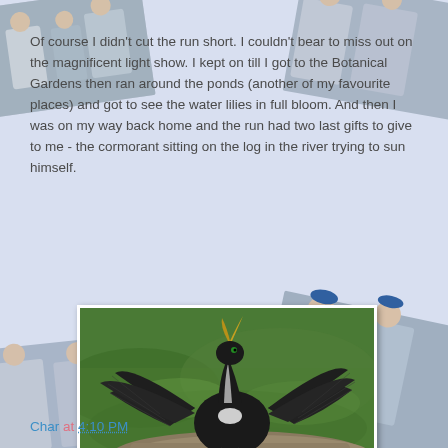Of course I didn't cut the run short. I couldn't bear to miss out on the magnificent light show. I kept on till I got to the Botanical Gardens then ran around the ponds (another of my favourite places) and got to see the water lilies in full bloom. And then I was on my way back home and the run had two last gifts to give to me - the cormorant sitting on the log in the river trying to sun himself.
[Figure (photo): A cormorant bird with wings spread wide, standing on a rock beside green water, beak pointed upward, sunning itself.]
And the smiling runner whose face spelled out just how much he was enjoying his run. I figure he'd just started to be that happy.

Honestly yesterday's running sucked but the run was amazing.
Char at 4:10 PM